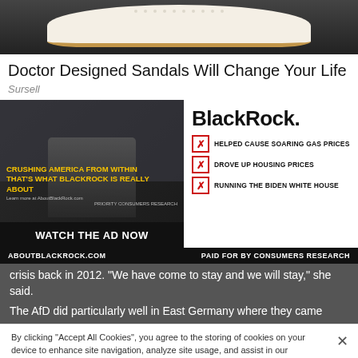[Figure (photo): Close-up of a white leather sandal with perforations and tan stitching on dark background]
Doctor Designed Sandals Will Change Your Life
Sursell
[Figure (advertisement): BlackRock political advertisement. Left half shows a man in a suit in front of a building with yellow text 'CRUSHING AMERICA FROM WITHIN THAT'S WHAT BLACKROCK IS REALLY ABOUT' and button 'WATCH THE AD NOW'. Right half shows BlackRock logo with three checked items: HELPED CAUSE SOARING GAS PRICES, DROVE UP HOUSING PRICES, RUNNING THE BIDEN WHITE HOUSE. Footer: ABOUTBLACKROCK.COM / PAID FOR BY CONSUMERS RESEARCH]
crisis back in 2012. "We have come to stay and we will stay," she said.
The AfD did particularly well in East Germany where they came
By clicking “Accept All Cookies”, you agree to the storing of cookies on your device to enhance site navigation, analyze site usage, and assist in our marketing
[Figure (advertisement): Frontgate advertisement: Outdoor Furniture | Bedding. 25% off site wide sale going on now at Frontgate.com. frontgate.com]